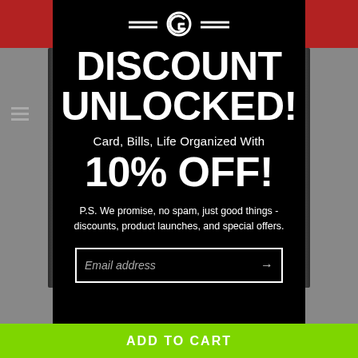[Figure (logo): Brand logo with stylized 'G' letter flanked by equals-like lines]
DISCOUNT UNLOCKED!
Card, Bills, Life Organized With
10% OFF!
P.S. We promise, no spam, just good things - discounts, product launches, and special offers.
Email address
ADD TO CART